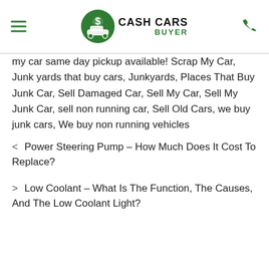Cash Cars Buyer
my car same day pickup available! Scrap My Car, Junk yards that buy cars, Junkyards, Places That Buy Junk Car, Sell Damaged Car, Sell My Car, Sell My Junk Car, sell non running car, Sell Old Cars, we buy junk cars, We buy non running vehicles
Power Steering Pump – How Much Does It Cost To Replace?
Low Coolant – What Is The Function, The Causes, And The Low Coolant Light?